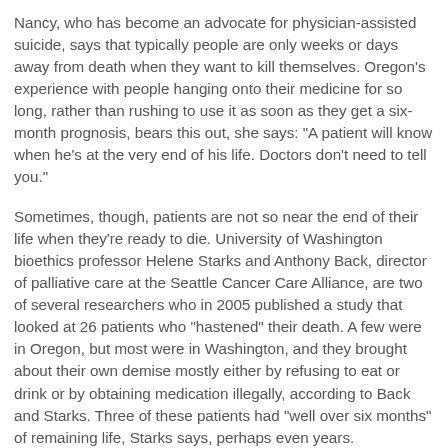Nancy, who has become an advocate for physician-assisted suicide, says that typically people are only weeks or days away from death when they want to kill themselves. Oregon's experience with people hanging onto their medicine for so long, rather than rushing to use it as soon as they get a six-month prognosis, bears this out, she says: "A patient will know when he's at the very end of his life. Doctors don't need to tell you."
Sometimes, though, patients are not so near the end of their life when they're ready to die. University of Washington bioethics professor Helene Starks and Anthony Back, director of palliative care at the Seattle Cancer Care Alliance, are two of several researchers who in 2005 published a study that looked at 26 patients who "hastened" their death. A few were in Oregon, but most were in Washington, and they brought about their own demise mostly either by refusing to eat or drink or by obtaining medication illegally, according to Back and Starks. Three of these patients had "well over six months" of remaining life, Starks says, perhaps even years.